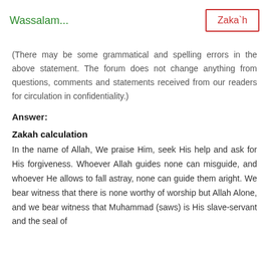Wassalam...
Zaka`h
(There may be some grammatical and spelling errors in the above statement. The forum does not change anything from questions, comments and statements received from our readers for circulation in confidentiality.)
Answer:
Zakah calculation
In the name of Allah, We praise Him, seek His help and ask for His forgiveness. Whoever Allah guides none can misguide, and whoever He allows to fall astray, none can guide them aright. We bear witness that there is none worthy of worship but Allah Alone, and we bear witness that Muhammad (saws) is His slave-servant and the seal of